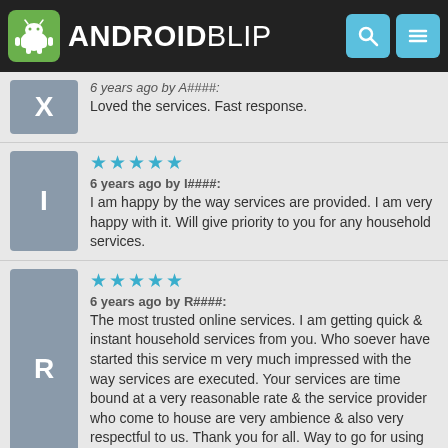ANDROIDBLIP
Loved the services. Fast response.
6 years ago by I####:
I am happy by the way services are provided. I am very happy with it. Will give priority to you for any household services.
6 years ago by R####:
The most trusted online services. I am getting quick & instant household services from you. Who soever have started this service m very much impressed with the way services are executed. Your services are time bound at a very reasonable rate & the service provider who come to house are very ambience & also very respectful to us. Thank you for all. Way to go for using more services from you FRYBLE.
6 years ago by X####:
Prompt response and quick repair with a promise of free follow up within 7 days. Quite a reasonable bargain too.